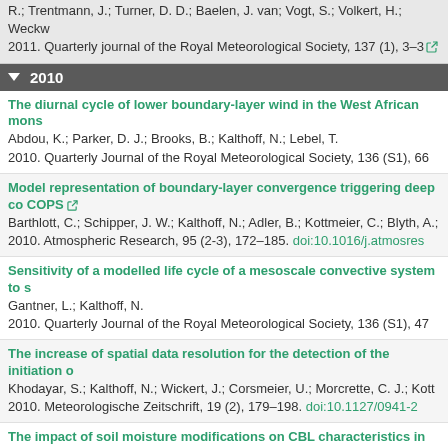R.; Trentmann, J.; Turner, D. D.; Baelen, J. van; Vogt, S.; Volkert, H.; Weckw
2011. Quarterly journal of the Royal Meteorological Society, 137 (1), 3–3
2010
The diurnal cycle of lower boundary-layer wind in the West African mons
Abdou, K.; Parker, D. J.; Brooks, B.; Kalthoff, N.; Lebel, T.
2010. Quarterly Journal of the Royal Meteorological Society, 136 (S1), 66
Model representation of boundary-layer convergence triggering deep co COPS
Barthlott, C.; Schipper, J. W.; Kalthoff, N.; Adler, B.; Kottmeier, C.; Blyth, A.;
2010. Atmospheric Research, 95 (2-3), 172–185. doi:10.1016/j.atmosres
Sensitivity of a modelled life cycle of a mesoscale convective system to s
Gantner, L.; Kalthoff, N.
2010. Quarterly Journal of the Royal Meteorological Society, 136 (S1), 47
The increase of spatial data resolution for the detection of the initiation o
Khodayar, S.; Kalthoff, N.; Wickert, J.; Corsmeier, U.; Morcrette, C. J.; Kott
2010. Meteorologische Zeitschrift, 19 (2), 179–198. doi:10.1127/0941-2
The impact of soil moisture modifications on CBL characteristics in West
Kohler, M.; Kalthoff, N.; Kottmeier, C.
2010. Quarterly Journal of the Royal Meteorological Society, 136 (S1), 44